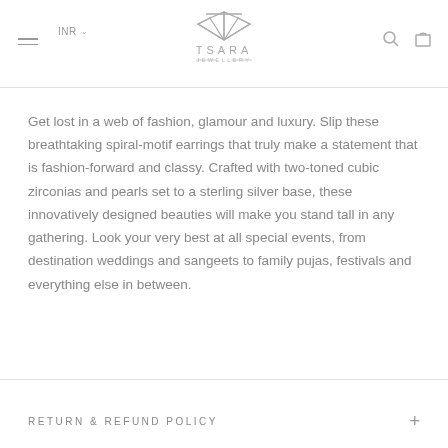TSARA JEWELLERY — INR currency selector, hamburger menu, search and cart icons
Get lost in a web of fashion, glamour and luxury. Slip these breathtaking spiral-motif earrings that truly make a statement that is fashion-forward and classy. Crafted with two-toned cubic zirconias and pearls set to a sterling silver base, these innovatively designed beauties will make you stand tall in any gathering. Look your very best at all special events, from destination weddings and sangeets to family pujas, festivals and everything else in between.
RETURN & REFUND POLICY